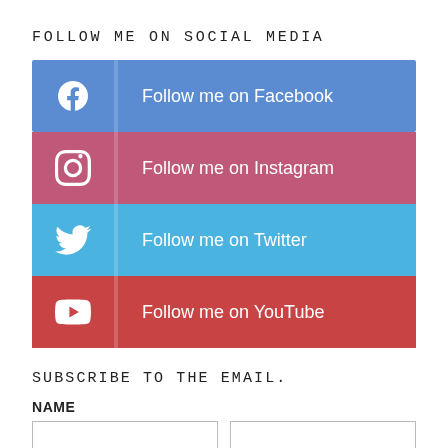FOLLOW ME ON SOCIAL MEDIA
Follow me on Facebook
Follow me on Instagram
Follow me on Twitter
Follow me on YouTube
SUBSCRIBE TO THE EMAIL.
NAME